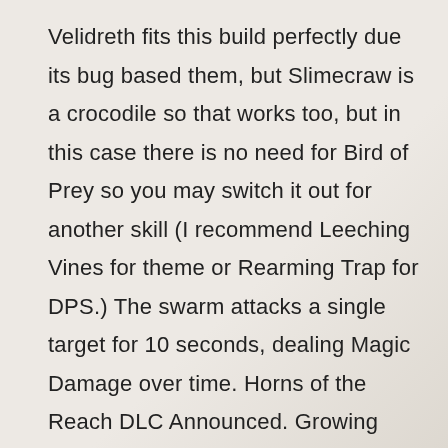Velidreth fits this build perfectly due its bug based them, but Slimecraw is a crocodile so that works too, but in this case there is no need for Bird of Prey so you may switch it out for another skill (I recommend Leeching Vines for theme or Rearming Trap for DPS.) The swarm attacks a single target for 10 seconds, dealing Magic Damage over time. Horns of the Reach DLC Announced. Growing Swarm Cast Time: Instant Target: Enemy Range: 28 meters Radius: 5 meters Cost: 2525 Stamina Skill Description Unleash a swarm of fetcherflies to relentlessly attack an enemy, causing them to bleed for 2400 Physical Damage over 10 seconds. Latest